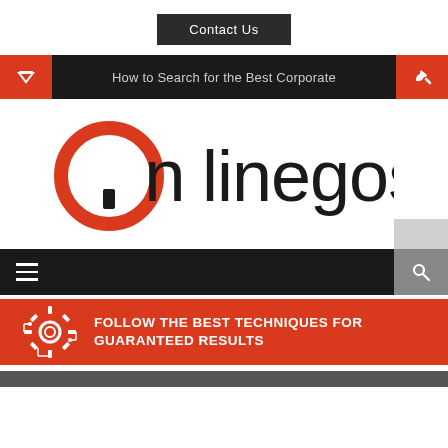Contact Us
How to Search for the Best Corporate
[Figure (logo): Onlinegosj logo — red circular icon with 'On' and black text 'linegosj']
FOLLOW THE BEST TECHNIQUES FOR GUARANTEED RESULTS